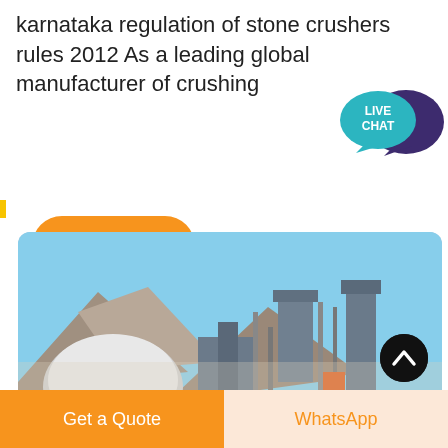karnataka regulation of stone crushers rules 2012 As a leading global manufacturer of crushing
[Figure (other): Orange 'Get price' button with rounded corners]
[Figure (other): Live Chat speech bubble icon in teal with dark purple speech bubble overlay]
[Figure (photo): Industrial stone crushing plant with machinery, silos, conveyor systems, large dome-shaped structure, and mountains in the background under a blue sky]
[Figure (other): Black circular scroll-to-top button with white upward chevron arrow]
[Figure (other): Bottom navigation bar with orange 'Get a Quote' button and light orange 'WhatsApp' button]